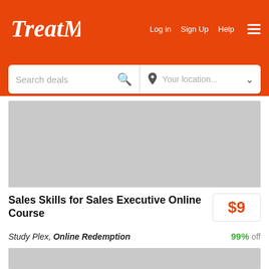TreatMe — Log in  Sign Up  Help
[Figure (screenshot): Search deals bar with location selector]
[Figure (photo): Gray placeholder image for deal product]
Sales Skills for Sales Executive Online Course  $9
Study Plex, Online Redemption  99% off
[Figure (photo): Gray placeholder image for second deal product]